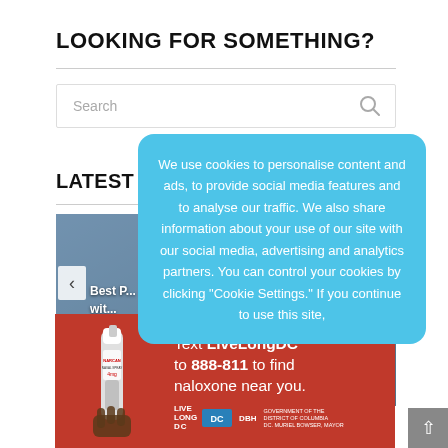LOOKING FOR SOMETHING?
Search
LATEST NEWS
[Figure (screenshot): News image carousel showing partially visible article about knee pain, with left and right navigation arrows]
Best P... wit... Knee ...
[Figure (infographic): Cookie consent popup overlay in light blue with text: We use cookies to personalise content and ads, to provide social media features and to analyse our traffic. We also share information about your use of our site with our social media, advertising and analytics partners. You can control your cookies by clicking "Cookie Settings." If you continue to use this site,]
[Figure (infographic): Advertisement banner: Text LiveLongDC to 888-811 to find naloxone near you. Red background with image of nasal spray. Live Long DC and DBH logos.]